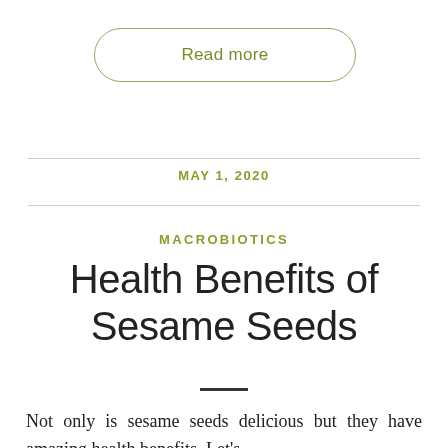Read more
MAY 1, 2020
MACROBIOTICS
Health Benefits of Sesame Seeds
Not only is sesame seeds delicious but they have amazing health benefits. Let's